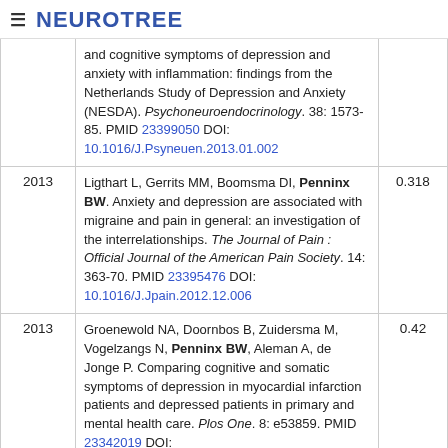≡ NEUROTREE
| Year | Reference | Score |
| --- | --- | --- |
|  | and cognitive symptoms of depression and anxiety with inflammation: findings from the Netherlands Study of Depression and Anxiety (NESDA). Psychoneuroendocrinology. 38: 1573-85. PMID 23399050 DOI: 10.1016/J.Psyneuen.2013.01.002 |  |
| 2013 | Ligthart L, Gerrits MM, Boomsma DI, Penninx BW. Anxiety and depression are associated with migraine and pain in general: an investigation of the interrelationships. The Journal of Pain : Official Journal of the American Pain Society. 14: 363-70. PMID 23395476 DOI: 10.1016/J.Jpain.2012.12.006 | 0.318 |
| 2013 | Groenewold NA, Doornbos B, Zuidersma M, Vogelzangs N, Penninx BW, Aleman A, de Jonge P. Comparing cognitive and somatic symptoms of depression in myocardial infarction patients and depressed patients in primary and mental health care. Plos One. 8: e53859. PMID 23342019 DOI: | 0.42 |